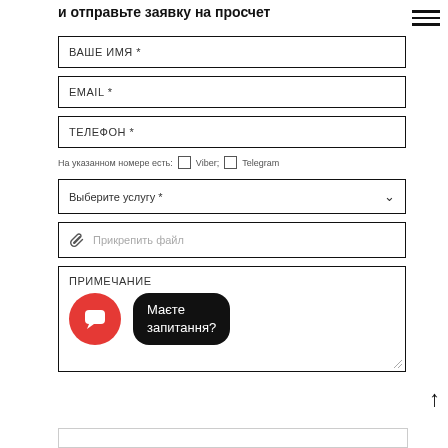и отправьте заявку на просчет
ВАШЕ ИМЯ *
EMAIL *
ТЕЛЕФОН *
На указанном номере есть: □ Viber; □ Telegram
Выберите услугу *
Прикрепить файл
ПРИМЕЧАНИЕ
Маєте запитання?